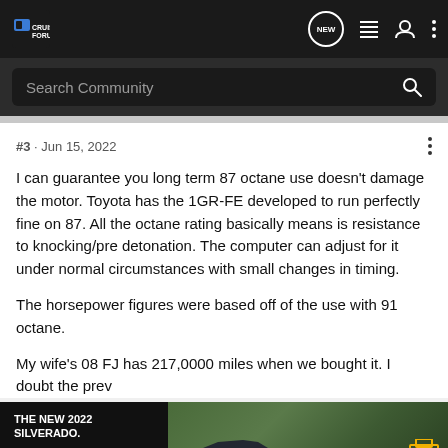FJ Cruiser Forums
#3 · Jun 15, 2022
I can guarantee you long term 87 octane use doesn't damage the motor. Toyota has the 1GR-FE developed to run perfectly fine on 87. All the octane rating basically means is resistance to knocking/pre detonation. The computer can adjust for it under normal circumstances with small changes in timing.

The horsepower figures were based off of the use with 91 octane.

My wife's 08 FJ has 217,0000 miles when we bought it. I doubt the prev
[Figure (screenshot): Chevrolet advertisement banner: THE NEW 2022 SILVERADO. Explore button. Image of dark Silverado truck in green landscape with Chevrolet logo.]